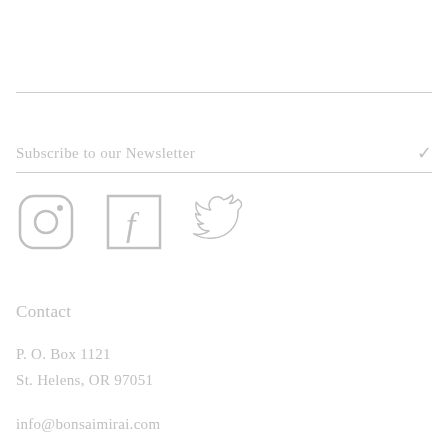Subscribe to our Newsletter
[Figure (illustration): Social media icons: Instagram (camera icon in rounded square), Facebook (f logo in square), Twitter (bird logo)]
Contact
P. O. Box 1121
St. Helens, OR 97051
info@bonsaimirai.com